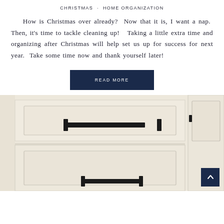CHRISTMAS · HOME ORGANIZATION
How is Christmas over already?  Now that it is, I want a nap.  Then, it's time to tackle cleaning up!   Taking a little extra time and organizing after Christmas will help set us up for success for next year.  Take some time now and thank yourself later!
READ MORE
[Figure (photo): Close-up photo of cream/off-white kitchen cabinet drawers with black bar handles against a white background. A small dark navy blue scroll-to-top button with an upward chevron is overlaid in the bottom-right corner.]